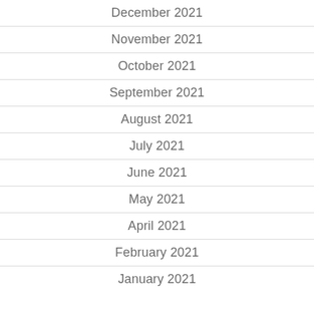December 2021
November 2021
October 2021
September 2021
August 2021
July 2021
June 2021
May 2021
April 2021
February 2021
January 2021